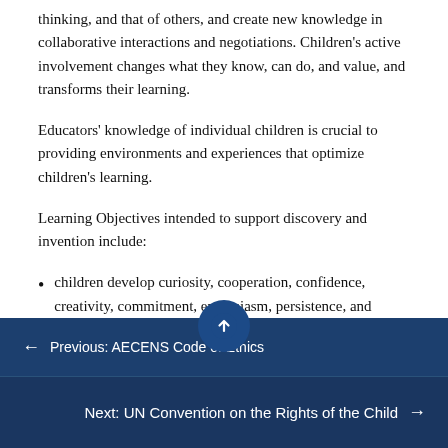thinking, and that of others, and create new knowledge in collaborative interactions and negotiations. Children's active involvement changes what they know, can do, and value, and transforms their learning.
Educators' knowledge of individual children is crucial to providing environments and experiences that optimize children's learning.
Learning Objectives intended to support discovery and invention include:
children develop curiosity, cooperation, confidence, creativity, commitment, enthusiasm, persistence, and imagination
← Previous: AECENS Code of Ethics
Next: UN Convention on the Rights of the Child →